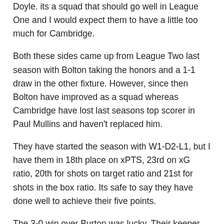Doyle. its a squad that should go well in League One and I would expect them to have a little too much for Cambridge.
Both these sides came up from League Two last season with Bolton taking the honors and a 1-1 draw in the other fixture. However, since then Bolton have improved as a squad whereas Cambridge have lost last seasons top scorer in Paul Mullins and haven't replaced him.
They have started the season with W1-D2-L1, but I have them in 18th place on xPTS, 23rd on xG ratio, 20th for shots on target ratio and 21st for shots in the box ratio. Its safe to say they have done well to achieve their five points.
The 3-0 win over Burton was lucky. Their keeper Dimitar Mitov was named man of the match with The Us scoring three goals with a xG of 0.38 from three shots on target with Burton failing to score despite generating a xG of 3.29 with 18 shots, eight shots on target and 15 shots in the box. Its worth noting that two of the